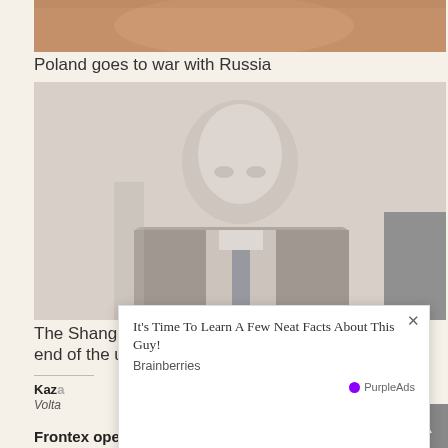[Figure (photo): Partial top of an image, cropped, showing figures with warm reddish-brown tones]
Poland goes to war with Russia
[Figure (photo): A man in a suit sitting, photographed in muted gray tones, appears to be at a formal meeting or conference]
The Shanghai Cooperation Organization and the end of the unipolar world
[Figure (screenshot): A popup advertisement overlay: "It's Time To Learn A Few Neat Facts About This Guy!" from Brainberries via PurpleAds, with a close (X) button]
Kaz...
Volta...
Frontex operates abroad against immigration to the EU